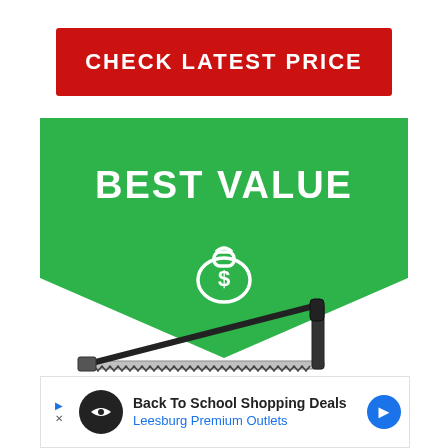CHECK LATEST PRICE
[Figure (infographic): Green chevron/banner shape with 'BEST VALUE' text and money bag icon with dollar sign]
[Figure (photo): Product photo of a laptop stand/hacksaw — a silver and black adjustable stand viewed from the side]
Back To School Shopping Deals
Leesburg Premium Outlets